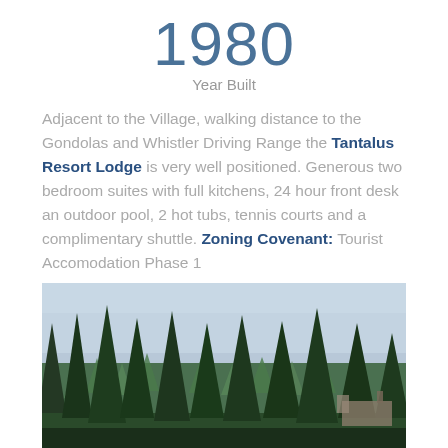1980
Year Built
Adjacent to the Village, walking distance to the Gondolas and Whistler Driving Range the Tantalus Resort Lodge is very well positioned. Generous two bedroom suites with full kitchens, 24 hour front desk an outdoor pool, 2 hot tubs, tennis courts and a complimentary shuttle. Zoning Covenant: Tourist Accomodation Phase 1
[Figure (photo): Outdoor photo showing tall conifer trees (spruce/fir) against a grey sky, with a building visible at lower right, suggesting a mountain resort setting]